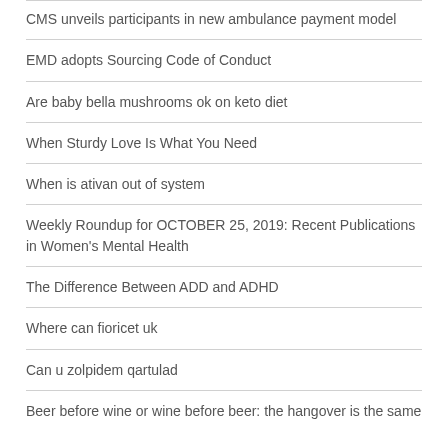CMS unveils participants in new ambulance payment model
EMD adopts Sourcing Code of Conduct
Are baby bella mushrooms ok on keto diet
When Sturdy Love Is What You Need
When is ativan out of system
Weekly Roundup for OCTOBER 25, 2019: Recent Publications in Women's Mental Health
The Difference Between ADD and ADHD
Where can fioricet uk
Can u zolpidem qartulad
Beer before wine or wine before beer: the hangover is the same